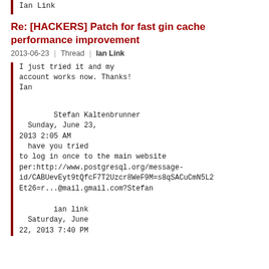Ian Link
Re: [HACKERS] Patch for fast gin cache performance improvement
2013-06-23 | Thread | Ian Link
I just tried it and my account works now. Thanks!
Ian
Stefan Kaltenbrunner
  Sunday, June 23,
2013 2:05 AM
  have you tried
to log in once to the main website per:http://www.postgresql.org/message-id/CABUevEyt9tQfcF7T2Uzcr8WeF9M=s8qSACuCmN5L2Et26=r...@mail.gmail.com?Stefan
ian link
  Saturday, June
22, 2013 7:40 PM